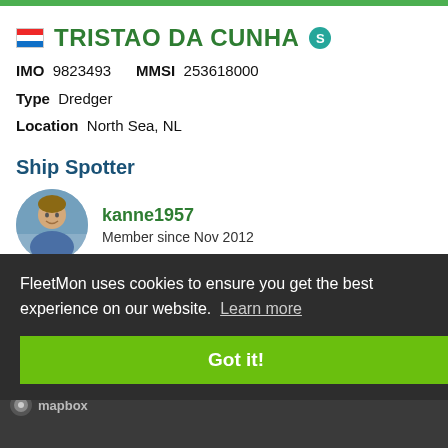TRISTAO DA CUNHA
IMO 9823493   MMSI 253618000
Type Dredger
Location North Sea, NL
Ship Spotter
kanne1957
Member since Nov 2012
FleetMon uses cookies to ensure you get the best experience on our website. Learn more
Got it!